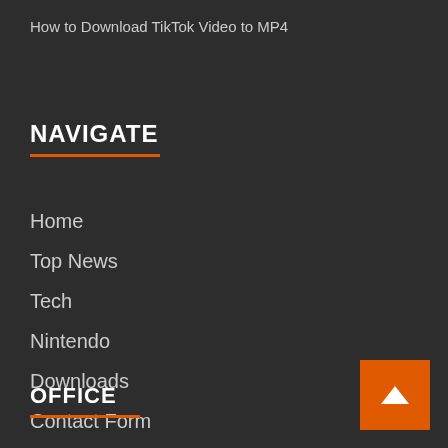How to Download TikTok Video to MP4
NAVIGATE
Home
Top News
Tech
Nintendo
Downloads
Contact Form
OFFICE